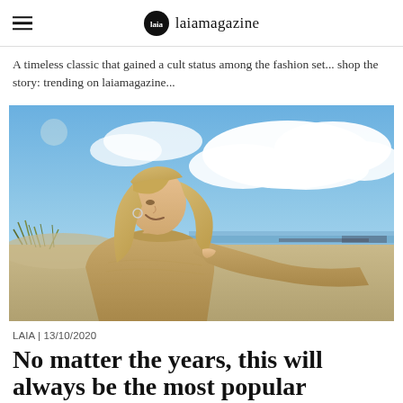laiamagazine
A timeless classic that gained a cult status among the fashion set... shop the story: trending on laiamagazine...
[Figure (photo): A smiling blonde woman wearing a camel/tan knit turtleneck sweater, standing outdoors at a beach with sand dunes, blue sky and white clouds in the background, looking upward and to the right.]
LAIA | 13/10/2020
No matter the years, this will always be the most popular Autumn color